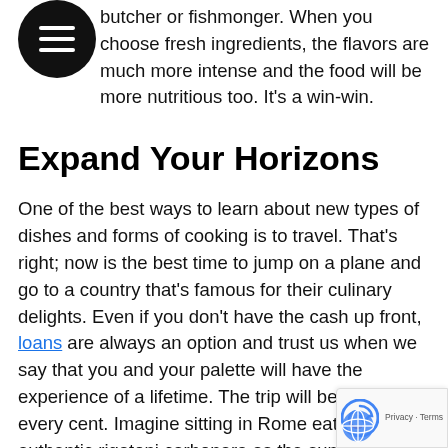local farmers markets, or getting meat and seafood from a butcher or fishmonger. When you choose fresh ingredients, the flavors are much more intense and the food will be more nutritious too. It's a win-win.
Expand Your Horizons
One of the best ways to learn about new types of dishes and forms of cooking is to travel. That's right; now is the best time to jump on a plane and go to a country that's famous for their culinary delights. Even if you don't have the cash up front, loans are always an option and trust us when we say that you and your palette will have the experience of a lifetime. The trip will be worth every cent. Imagine sitting in Rome eating authentic rigatoni carbonara as the sun sets. Or sipping chicken pho on a busy side street in Vietnam? Or enjoy some huevos rancheros for breakfast on a beach in Mexico?